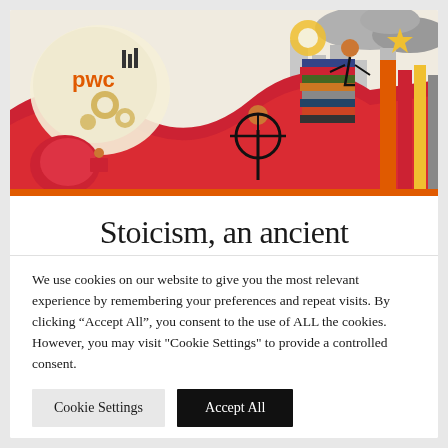[Figure (illustration): PwC branded illustration showing figures climbing books, a person at a ship's wheel, a brain with gears, and various abstract business/knowledge elements in red, yellow, white, and grey tones. PwC logo visible in upper left.]
Stoicism, an ancient
We use cookies on our website to give you the most relevant experience by remembering your preferences and repeat visits. By clicking “Accept All”, you consent to the use of ALL the cookies. However, you may visit "Cookie Settings" to provide a controlled consent.
Cookie Settings
Accept All